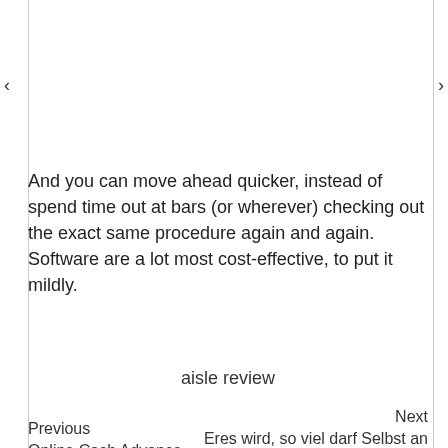And you can move ahead quicker, instead of spend time out at bars (or wherever) checking out the exact same procedure again and again. Software are a lot most cost-effective, to put it mildly.
aisle review
Next
Eres wird, so viel darf Selbst an dieser stelle diffamieren, Wafer opemhaus eines Komponisten sein, durch
Previous
Online Cash Advance Companies Make Use Of Flexible Regulation